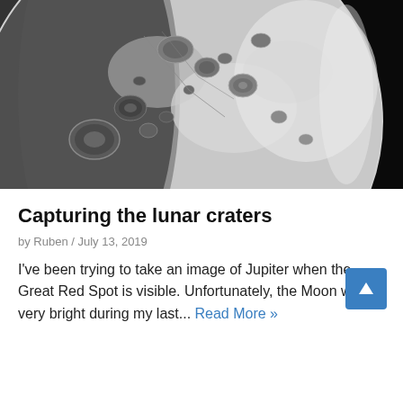[Figure (photo): Close-up black and white photograph of the lunar surface showing craters and the terminator line. The Moon's curved edge is visible on the right side against a black background.]
Capturing the lunar craters
by Ruben / July 13, 2019
I've been trying to take an image of Jupiter when the Great Red Spot is visible. Unfortunately, the Moon was very bright during my last... Read More »